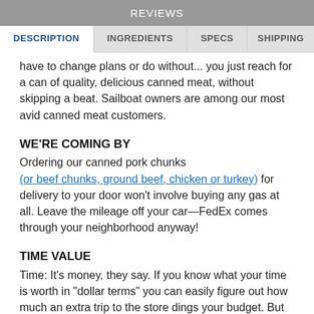REVIEWS
DESCRIPTION | INGREDIENTS | SPECS | SHIPPING
have to change plans or do without... you just reach for a can of quality, delicious canned meat, without skipping a beat. Sailboat owners are among our most avid canned meat customers.
WE'RE COMING BY
Ordering our canned pork chunks (or beef chunks, ground beef, chicken or turkey) for delivery to your door won't involve buying any gas at all. Leave the mileage off your car—FedEx comes through your neighborhood anyway!
TIME VALUE
Time: It's money, they say. If you know what your time is worth in "dollar terms" you can easily figure out how much an extra trip to the store dings your budget. But time is more than money too. Time is the opportunity to do what you want to for a while... and for most of us, some extra city driving isn't high on our wish list. And there's more: Our meats save you preparation time. There's no trimming or cutting to do, and since they're fully precooked,